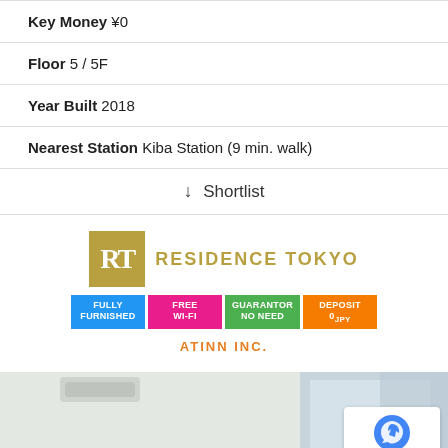Key Money ¥0
Floor 5 / 5F
Year Built 2018
Nearest Station Kiba Station (9 min. walk)
↓ Shortlist
[Figure (logo): Residence Tokyo logo with RT gold box and colored feature badges: Fully Furnished (blue), Free Wi-Fi (pink), Guarantor No Need (green), Deposit 0 JPY (orange). Below: ATINN INC. in orange text.]
[Figure (photo): Interior photo of apartment room showing white walls, curtains, and air conditioning unit.]